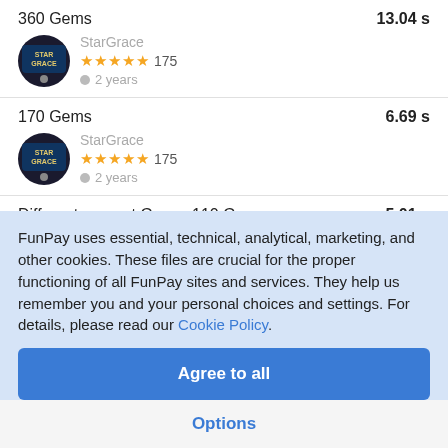360 Gems — 13.04 s — StarGrace — ★★★★★ 175 — 2 years
170 Gems — 6.69 s — StarGrace — ★★★★★ 175 — 2 years
Different amount Gems, 110 Gems — 5.01 s — StarGrace — ★★★★★ 175 — 2 years
FunPay uses essential, technical, analytical, marketing, and other cookies. These files are crucial for the proper functioning of all FunPay sites and services. They help us remember you and your personal choices and settings. For details, please read our Cookie Policy.
Agree to all
Options